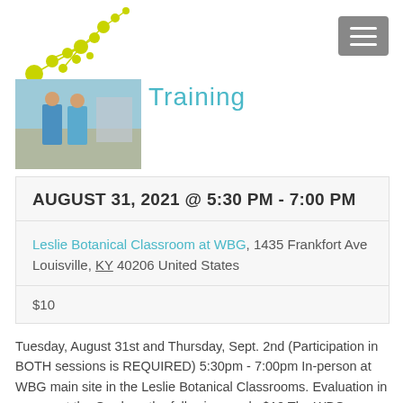[Figure (logo): Yellow-green dots connected by lines forming a diagonal cluster logo]
[Figure (photo): Two people in blue shirts standing outdoors at a botanical garden]
Training
AUGUST 31, 2021 @ 5:30 PM - 7:00 PM
Leslie Botanical Classroom at WBG, 1435 Frankfort Ave
Louisville, KY 40206 United States
$10
Tuesday, August 31st and Thursday, Sept. 2nd (Participation in BOTH sessions is REQUIRED) 5:30pm - 7:00pm In-person at WBG main site in the Leslie Botanical Classrooms. Evaluation in person at the Gardens the following week. $10 The WBG Garden Guides serve as an essential part of the daily operations of the botanical gardens during visiting hours. These are dependable, committed volunteers who are willing